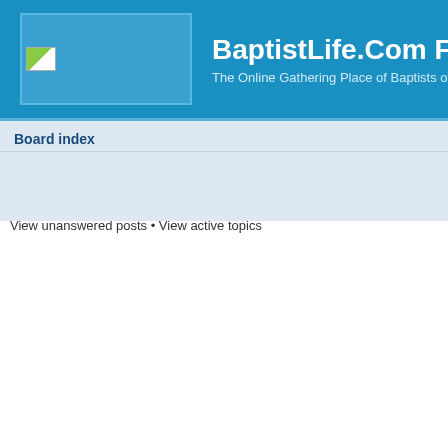BaptistLife.Com Forums. The Online Gathering Place of Baptists of all Kinds.
Board index
View unanswered posts • View active topics
| PUBLIC FORUMS |  | TOPICS |
| --- | --- | --- |
| Welcome Forum (For Visitors and New Users) | Pull up a chair and introduce yourself. We're glad you're here. | 182 |
| Baptist Faith & Practice Forum | Open discussion on general Baptist-related topics of interest to Baptists around the world. Moderator: Dave Roberts | 7043 |
| ABC Life and Ministry Forum | Discuss life and ministry in the American Baptist Churches, USA Moderator: Haruo | 426 |
| CBF Missions and Ministry Forum | A forum for Cooperative Baptist Fellowship-related discussions. Moderator: Neil Heath | 234 |
| SBC News and Trends |  | 1657 |